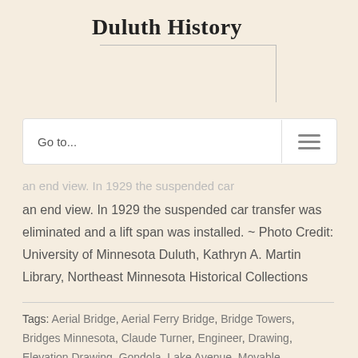Duluth History
Go to...
an end view. In 1929 the suspended car transfer was eliminated and a lift span was installed. ~ Photo Credit: University of Minnesota Duluth, Kathryn A. Martin Library, Northeast Minnesota Historical Collections
Tags: Aerial Bridge, Aerial Ferry Bridge, Bridge Towers, Bridges Minnesota, Claude Turner, Engineer, Drawing, Elevation Drawing, Gondola, Lake Avenue, Movable